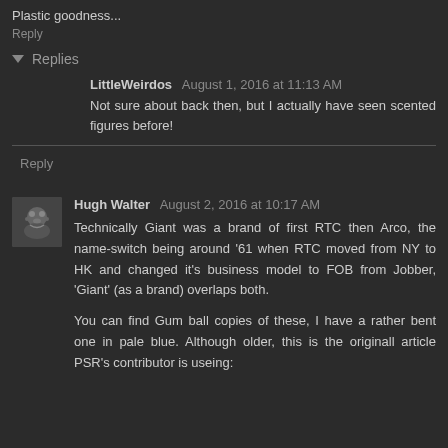Plastic goodness...
Reply
Replies
LittleWeirdos August 1, 2016 at 11:13 AM
Not sure about back then, but I actually have seen scented figures before!
Reply
Hugh Walter August 2, 2016 at 10:17 AM
Technically Giant was a brand of first RTC then Arco, the name-switch being around '61 when RTC moved from NY to HK and changed it's business model to FOB from Jobber, 'Giant' (as a brand) overlaps both.
You can find Gum ball copies of these, I have a rather bent one in pale blue. Although older, this is the originall article PSR's contributor is useing: